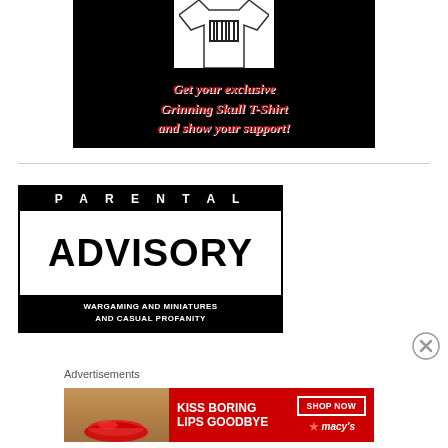[Figure (illustration): Black background advertisement showing a white t-shirt with a barcode/skull graphic, with red gothic text reading 'Get your exclusive Grinning Skull T-Shirt and show your support!']
[Figure (illustration): Black and white Parental Advisory style advertisement with text: PARENTAL ADVISORY - WARGAMING AND MINIATURES AND CASUAL PROFANITY]
Advertisements
[Figure (illustration): Red Macy's advertisement showing a woman's face/lips with text 'KISS BORING LIPS GOODBYE' and 'SHOP NOW' button with Macy's star logo]